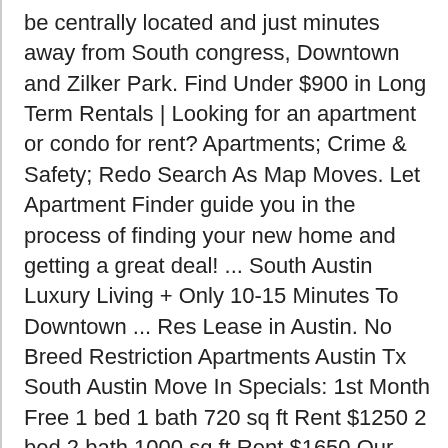be centrally located and just minutes away from South congress, Downtown and Zilker Park. Find Under $900 in Long Term Rentals | Looking for an apartment or condo for rent? Apartments; Crime & Safety; Redo Search As Map Moves. Let Apartment Finder guide you in the process of finding your new home and getting a great deal! ... South Austin Luxury Living + Only 10-15 Minutes To Downtown ... Res Lease in Austin. No Breed Restriction Apartments Austin Tx South Austin Move In Specials: 1st Month Free 1 bed 1 bath 720 sq ft Rent $1250 2 bed 2 bath 1000 sq ft Rent $1650 Our luxury apartments in South Austin offer spacious, open-living layouts and outstanding community amenities featuring an outdoor lounge with a cozy fireplace, a local revolving art gallery and a direct-level access parking garage. ft. $995. Austin; Find Your Next Apartment...